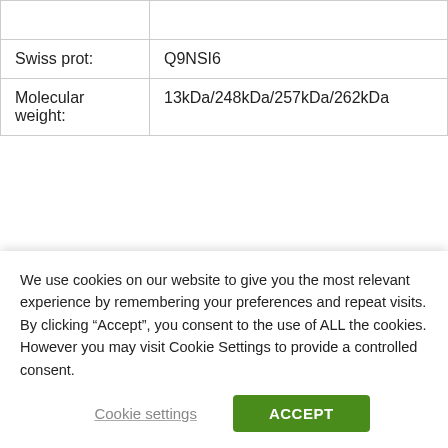|  |  |
| Swiss prot: | Q9NSI6 |
| Molecular weight: | 13kDa/248kDa/257kDa/262kDa |
Related products
We use cookies on our website to give you the most relevant experience by remembering your preferences and repeat visits. By clicking “Accept”, you consent to the use of ALL the cookies. However you may visit Cookie Settings to provide a controlled consent.